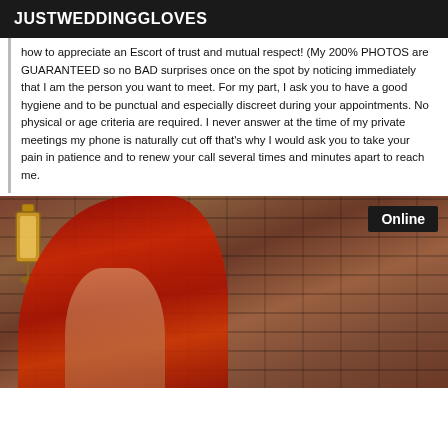JUSTWEDDINGGLOVES
how to appreciate an Escort of trust and mutual respect! (My 200% PHOTOS are GUARANTEED so no BAD surprises once on the spot by noticing immediately that I am the person you want to meet. For my part, I ask you to have a good hygiene and to be punctual and especially discreet during your appointments. No physical or age criteria are required. I never answer at the time of my private meetings my phone is naturally cut off that's why I would ask you to take your pain in patience and to renew your call several times and minutes apart to reach me.
[Figure (photo): Woman with long red hair posed against a brick wall background, with a decorative lantern visible on the left. An 'Online' badge appears in the top right corner of the image.]